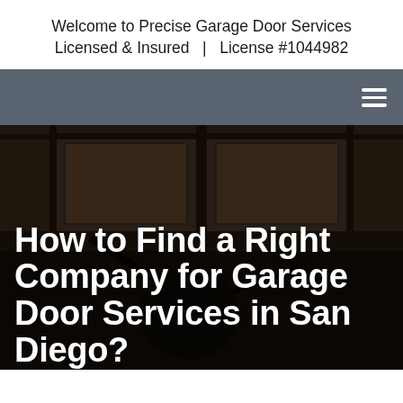Welcome to Precise Garage Door Services
Licensed & Insured  |  License #1044982
[Figure (screenshot): Gray navigation bar with hamburger menu icon (three horizontal lines) on the right side]
[Figure (photo): Interior view of a garage door from below, showing metal panels, wooden beams, and mechanical components. Dark, moody lighting.]
How to Find a Right Company for Garage Door Services in San Diego?